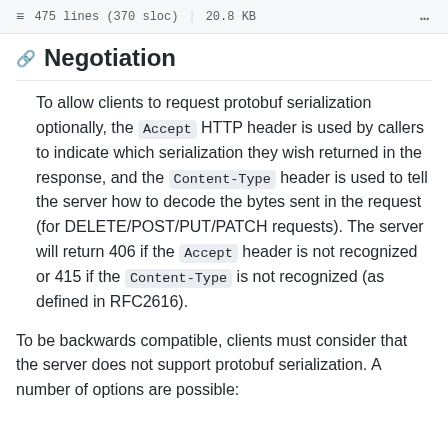475 lines (370 sloc)  |  20.8 KB  ...
Negotiation
To allow clients to request protobuf serialization optionally, the Accept HTTP header is used by callers to indicate which serialization they wish returned in the response, and the Content-Type header is used to tell the server how to decode the bytes sent in the request (for DELETE/POST/PUT/PATCH requests). The server will return 406 if the Accept header is not recognized or 415 if the Content-Type is not recognized (as defined in RFC2616).
To be backwards compatible, clients must consider that the server does not support protobuf serialization. A number of options are possible: